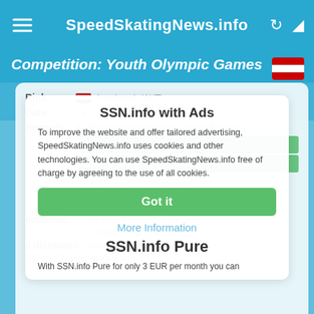SpeedSkatingNews.info
Competition: Youth Olympic Games
SSN.info with Ads
To improve the website and offer tailored advertising, SpeedSkatingNews.info uses cookies and other technologies. You can use SpeedSkatingNews.info free of charge by agreeing to the use of all cookies.
Got it
More Information
SSN.info Pure
With SSN.info Pure for only 3 EUR per month you can
Rink: Innsbruck (AUT)
Date: 14. – 18. 01. 2012
Records: 8x Youth Olympic Games (YOG) Rekord
2x Track Record Junior
3x Age Group Record C1/C2
1x Age Group Record B1/B2
8x Personal Best
19x Seasonal Best
Informati... 56 athletes from 21 nations
28 women and 28 men
5 distances (1500m, 3000m, 500m (1. Race), 500m (2. Race), Mass Start)